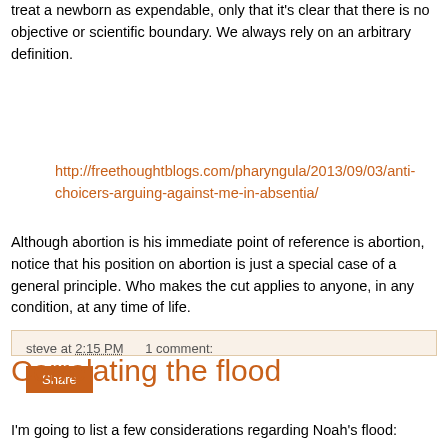treat a newborn as expendable, only that it's clear that there is no objective or scientific boundary. We always rely on an arbitrary definition.
http://freethoughtblogs.com/pharyngula/2013/09/03/anti-choicers-arguing-against-me-in-absentia/
Although abortion is his immediate point of reference is abortion, notice that his position on abortion is just a special case of a general principle. Who makes the cut applies to anyone, in any condition, at any time of life.
steve at 2:15 PM    1 comment:
Correlating the flood
I'm going to list a few considerations regarding Noah's flood: